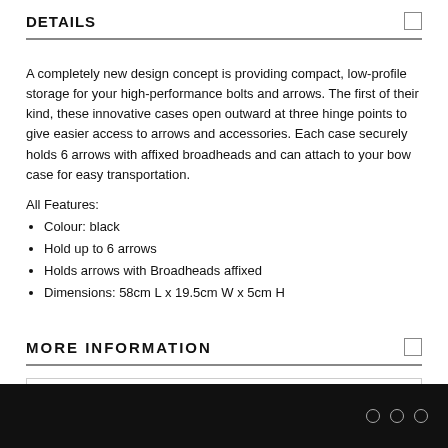DETAILS
A completely new design concept is providing compact, low-profile storage for your high-performance bolts and arrows. The first of their kind, these innovative cases open outward at three hinge points to give easier access to arrows and accessories. Each case securely holds 6 arrows with affixed broadheads and can attach to your bow case for easy transportation.
All Features:
Colour: black
Hold up to 6 arrows
Holds arrows with Broadheads affixed
Dimensions: 58cm L x 19.5cm W x 5cm H
MORE INFORMATION
| SKU: | PL112400 |
| --- | --- |
| Size/Capacity: | 71.2cm L x 19.7cm W x 5.08cm H |
| --- | --- |